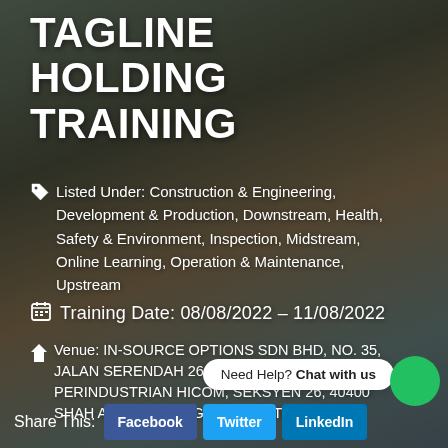TAGLINE HOLDING TRAINING
Listed Under: Construction & Engineering, Development & Production, Downstream, Health, Safety & Environment, Inspection, Midstream, Online Learning, Operation & Maintenance, Upstream
Training Date: 08/08/2022 – 11/08/2022
Venue: IN-SOURCE OPTIONS SDN BHD, NO. 35, JALAN SERENDAH 26/39, KAWASAN PERINDUSTRIAN HICOM, SEKSYEN 26, 40400 SHAH ALAM, SELANGOR/REMOTE ONLINE
Need Help? Chat with us
Share This: Facebook Twitter LinkedIn